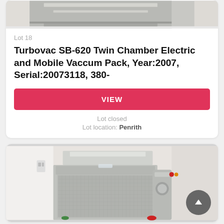[Figure (photo): Top portion of a stainless steel tray or equipment, partially cropped at top of page]
Lot 18
Turbovac SB-620 Twin Chamber Electric and Mobile Vaccum Pack, Year:2007, Serial:20073118, 380-
VIEW
Lot closed
Lot location: Penrith
[Figure (photo): Industrial stainless steel vacuum packing machine in a kitchen or food processing facility, with other equipment visible behind]